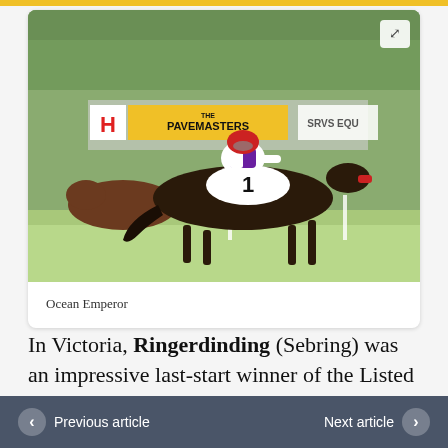[Figure (photo): A dark horse numbered 1 with a jockey wearing white and purple silks and a red helmet, racing at a track with 'THE PAVEMASTERS' advertising banner in background, ahead of another horse]
Ocean Emperor
In Victoria, Ringerdinding (Sebring) was an impressive last-start winner of the Listed
Previous article    Next article